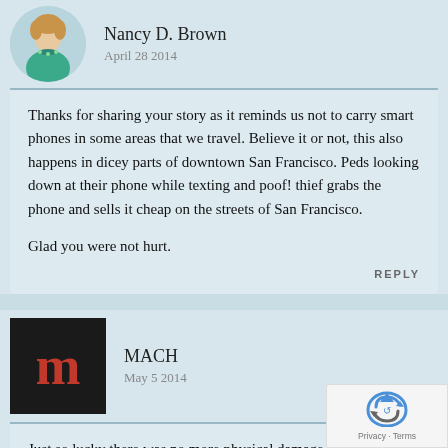Nancy D. Brown
April 28 2014
Thanks for sharing your story as it reminds us not to carry smart phones in some areas that we travel. Believe it or not, this also happens in dicey parts of downtown San Francisco. Peds looking down at their phone while texting and poof! thief grabs the phone and sells it cheap on the streets of San Francisco.

Glad you were not hurt.
REPLY
MACH
May 5 2014
Just so lucky there was no more physical damage than some scratches. Great story. You never know when or where. Thanks for